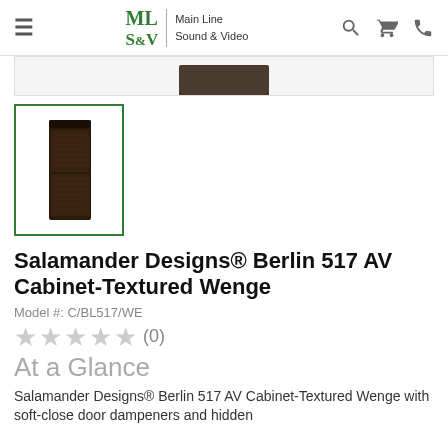ML S&V | Main Line Sound & Video
[Figure (photo): Partially visible product image strip at top of page showing dark AV cabinet]
[Figure (photo): Thumbnail of Salamander Designs Berlin 517 AV Cabinet in Textured Wenge finish - dark brown cabinet with textured doors]
Salamander Designs® Berlin 517 AV Cabinet-Textured Wenge
Model #: C/BL517/WE
★★★★★ (0)
At a Glance
Salamander Designs® Berlin 517 AV Cabinet-Textured Wenge with soft-close door dampeners and hidden